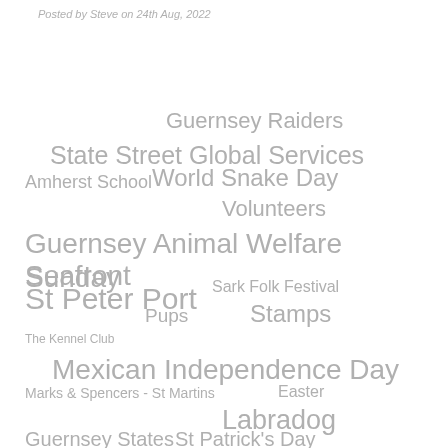Posted by Steve on 24th Aug, 2022
Guernsey Raiders
State Street Global Services
Amherst School
World Snake Day
Volunteers
Guernsey Animal Welfare Seafront Sunday
St Peter Port
Sark Folk Festival
Pups
Stamps
The Kennel Club
Mexican Independence Day
Marks & Spencers - St Martins
Easter
Labradog
Guernsey States
St Patrick's Day